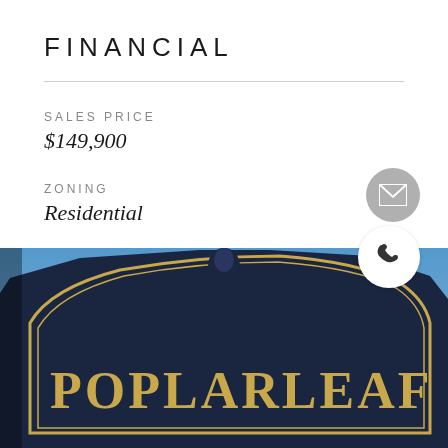FINANCIAL
SALES PRICE
$149,900
ZONING
Residential
[Figure (photo): Photograph of a dark navy ornamental sign reading 'POPLARLEAF' with gold lettering and a horse head emblem, against a blue sky background]